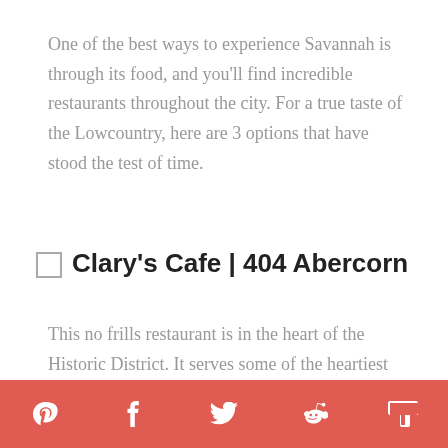One of the best ways to experience Savannah is through its food, and you'll find incredible restaurants throughout the city. For a true taste of the Lowcountry, here are 3 options that have stood the test of time.
Clary's Cafe | 404 Abercorn
This no frills restaurant is in the heart of the Historic District. It serves some of the heartiest breakfast options in town! Fans of the movie version of Midnight in the Garden of Good and Evil may spot a few familiar faces in the many photos blanketing the walls,